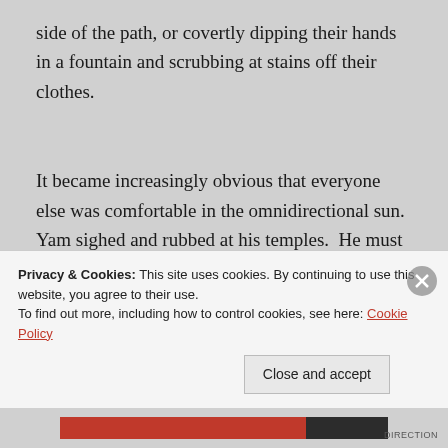side of the path, or covertly dipping their hands in a fountain and scrubbing at stains off their clothes.
It became increasingly obvious that everyone else was comfortable in the omnidirectional sun. Yam sighed and rubbed at his temples.  He must have spent too long trying to read the convoluted strings of influence, game, and motivation. For the entire day, he had been trying to
Privacy & Cookies: This site uses cookies. By continuing to use this website, you agree to their use.
To find out more, including how to control cookies, see here: Cookie Policy
[Close and accept]